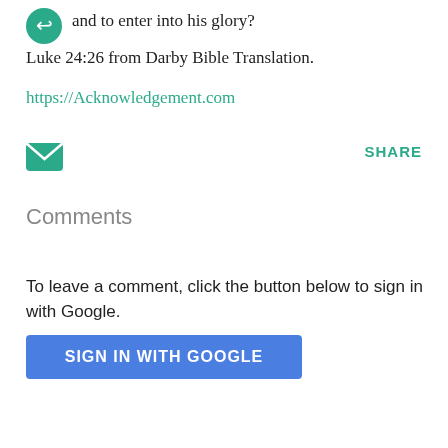and to enter into his glory?
Luke 24:26 from Darby Bible Translation.
https://Acknowledgement.com
[Figure (other): Email envelope icon (teal/green)]
SHARE
Comments
To leave a comment, click the button below to sign in with Google.
SIGN IN WITH GOOGLE